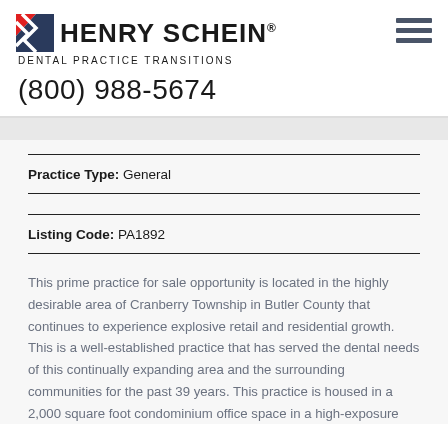[Figure (logo): Henry Schein Dental Practice Transitions logo with red and blue zigzag icon, company name in bold uppercase, and phone number (800) 988-5674]
Practice Type: General
Listing Code: PA1892
This prime practice for sale opportunity is located in the highly desirable area of Cranberry Township in Butler County that continues to experience explosive retail and residential growth. This is a well-established practice that has served the dental needs of this continually expanding area and the surrounding communities for the past 39 years. This practice is housed in a 2,000 square foot condominium office space in a high-exposure